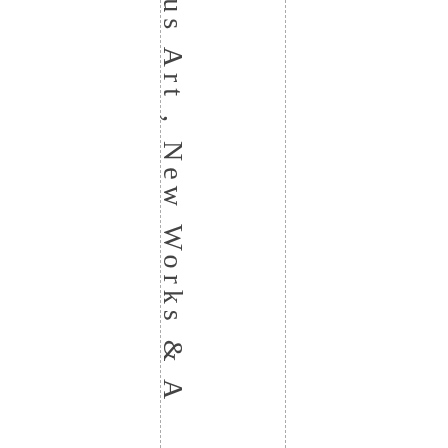& Indigenous Art , New Works & A